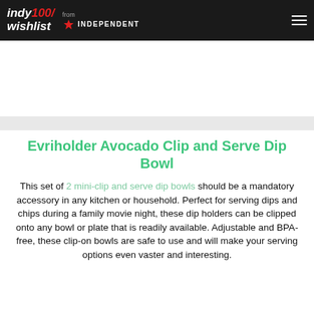indy100/ wishlist from INDEPENDENT
Evriholder Avocado Clip and Serve Dip Bowl
This set of 2 mini-clip and serve dip bowls should be a mandatory accessory in any kitchen or household. Perfect for serving dips and chips during a family movie night, these dip holders can be clipped onto any bowl or plate that is readily available. Adjustable and BPA-free, these clip-on bowls are safe to use and will make your serving options even vaster and interesting.